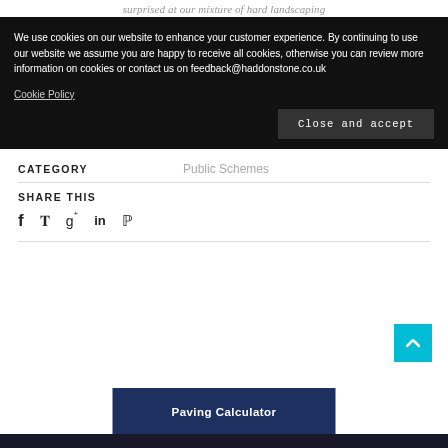surprised at our mixture of hard landscaping
We use cookies on our website to enhance your customer experience. By continuing to use our website we assume you are happy to receive all cookies, otherwise you can review more information on cookies or contact us on feedback@haddonstone.co.uk
Cookie Policy
Close and accept
CATEGORY
Public Schemes
SHARE THIS
[Figure (infographic): Social media share icons: Facebook, Twitter, Google+, LinkedIn, Pinterest]
Paving Calculator